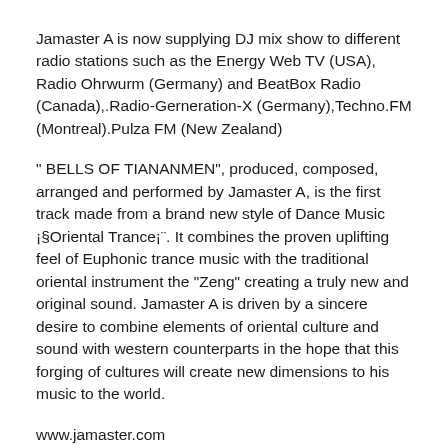Jamaster A is now supplying DJ mix show to different radio stations such as the Energy Web TV (USA), Radio Ohrwurm (Germany) and BeatBox Radio (Canada),.Radio-Gerneration-X (Germany),Techno.FM (Montreal).Pulza FM (New Zealand)
" BELLS OF TIANANMEN", produced, composed, arranged and performed by Jamaster A, is the first track made from a brand new style of Dance Music ¡§Oriental Trance¡¨. It combines the proven uplifting feel of Euphonic trance music with the traditional oriental instrument the "Zeng" creating a truly new and original sound. Jamaster A is driven by a sincere desire to combine elements of oriental culture and sound with western counterparts in the hope that this forging of cultures will create new dimensions to his music to the world.
www.jamaster.com